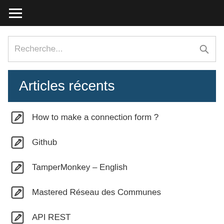☰
Recherche...
Articles récents
How to make a connection form ?
Github
TamperMonkey – English
Mastered Réseau des Communes
API REST
Commentaires récents